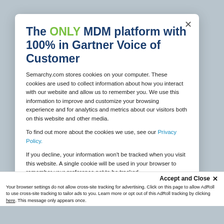The ONLY MDM platform with 100% in Gartner Voice of Customer
Semarchy.com stores cookies on your computer. These cookies are used to collect information about how you interact with our website and allow us to remember you. We use this information to improve and customize your browsing experience and for analytics and metrics about our visitors both on this website and other media.
To find out more about the cookies we use, see our Privacy Policy.
If you decline, your information won't be tracked when you visit this website. A single cookie will be used in your browser to remember your preference not to be tracked.
Accept and Close ✕
Your browser settings do not allow cross-site tracking for advertising. Click on this page to allow AdRoll to use cross-site tracking to tailor ads to you. Learn more or opt out of this AdRoll tracking by clicking here. This message only appears once.